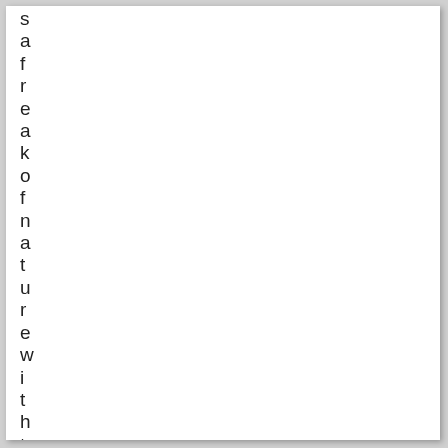safreakofnaturewithtoomunicato